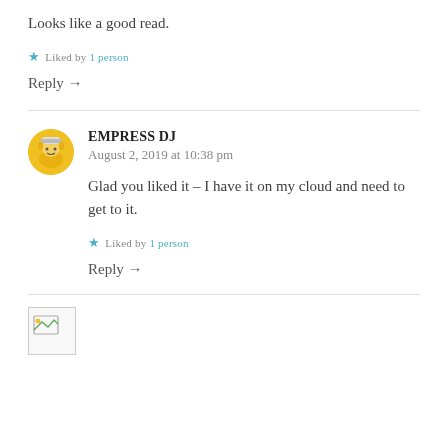Looks like a good read.
Liked by 1 person
Reply →
EMPRESS DJ
August 2, 2019 at 10:38 pm
Glad you liked it – I have it on my cloud and need to get to it.
Liked by 1 person
Reply →
[Figure (illustration): Small avatar/placeholder image at bottom left]